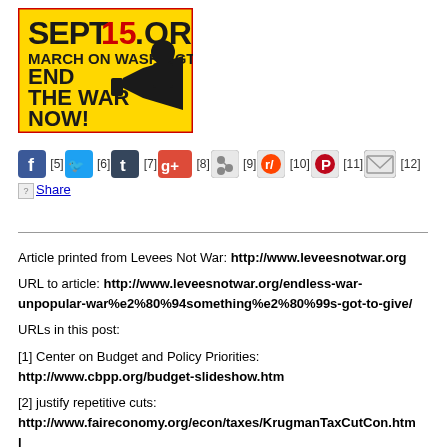[Figure (illustration): Yellow banner with black silhouette of man with megaphone. Text reads: SEPT15.ORG MARCH ON WASHINGTON END THE WAR NOW!]
[Figure (infographic): Row of social media sharing icons (Facebook, Twitter, Tumblr, Google+, social bookmark, Reddit, Pinterest, email) each followed by a reference number in brackets: [5] [6] [7] [8] [9] [10] [11] [12]. Below is a Share link with broken image icon.]
Article printed from Levees Not War: http://www.leveesnotwar.org
URL to article: http://www.leveesnotwar.org/endless-war-unpopular-war%e2%80%94something%e2%80%99s-got-to-give/
URLs in this post:
[1] Center on Budget and Policy Priorities: http://www.cbpp.org/budget-slideshow.htm
[2] justify repetitive cuts: http://www.faireconomy.org/econ/taxes/KrugmanTaxCutCon.html
[3] Why We Fight: http://www.amazon.com/Why-We-Fight-John-